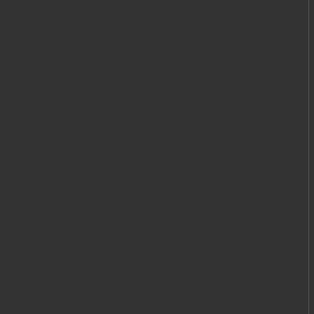my basic clones and (i suppo
I don't get this.
The basic clone is provided by CO
Crew salary is provided by - OH N
*runs away*
Crew salary is included in base ship cos
8
9
10
11
12
EVE Online
CCP Games
Copyrig